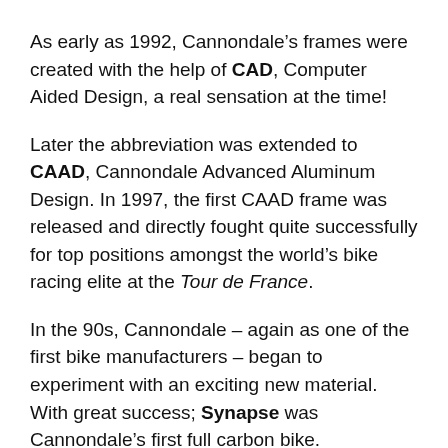As early as 1992, Cannondale's frames were created with the help of CAD, Computer Aided Design, a real sensation at the time!
Later the abbreviation was extended to CAAD, Cannondale Advanced Aluminum Design. In 1997, the first CAAD frame was released and directly fought quite successfully for top positions amongst the world's bike racing elite at the Tour de France.
In the 90s, Cannondale – again as one of the first bike manufacturers – began to experiment with an exciting new material. With great success; Synapse was Cannondale's first full carbon bike.
In 2015, Cannondale finally released Slate, a bike that created a worldwide trend that continues to this day. The drop bar bike with a Lefty and 650b tires is now considered the first gravel bike on the market.